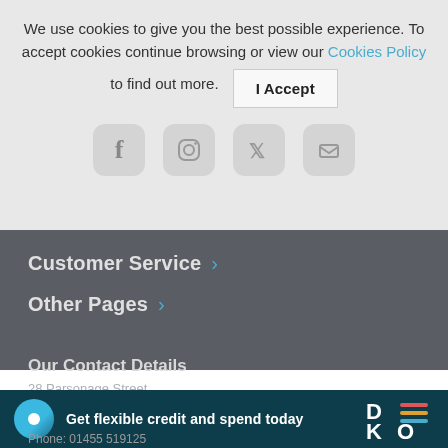We use cookies to give you the best possible experience. To accept cookies continue browsing or view our Cookies Policy to find out more.
[Figure (screenshot): Cookie consent banner with I Accept button and social media icons below]
Customer Service >
Other Pages >
Our Contact Details
28 Parsonage Street
[Figure (logo): DEKO flexible credit banner with blue circle icon and DEKO logo]
Get flexible credit and spend today
Phone: 01455 519125